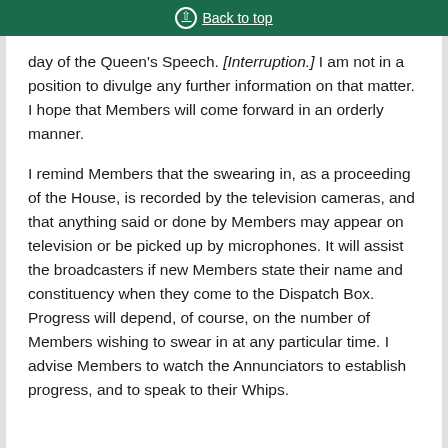Back to top
day of the Queen's Speech. [Interruption.] I am not in a position to divulge any further information on that matter. I hope that Members will come forward in an orderly manner.
I remind Members that the swearing in, as a proceeding of the House, is recorded by the television cameras, and that anything said or done by Members may appear on television or be picked up by microphones. It will assist the broadcasters if new Members state their name and constituency when they come to the Dispatch Box. Progress will depend, of course, on the number of Members wishing to swear in at any particular time. I advise Members to watch the Annunciators to establish progress, and to speak to their Whips.